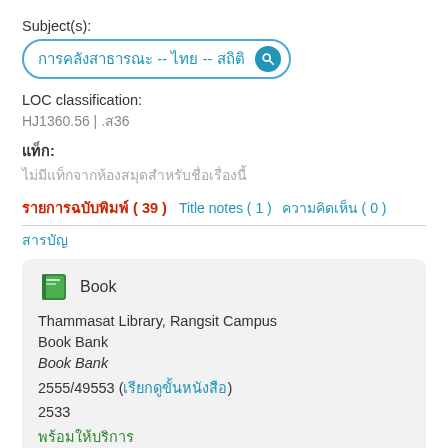Subject(s):
การคลังสาธารณะ -- ไทย -- สถิติ
LOC classification:
HJ1360.56 | .ส36
แท็ก:
ไม่มีแท็กจากห้องสมุดสำหรับชื่อเรื่องนี้
รายการฉบับพิมพ์ ( 39 )   Title notes ( 1 )   ความคิดเห็น ( 0 )   สารบัญ
Book
Thammasat Library, Rangsit Campus
Book Bank
Book Bank
2555/49553 (เรียกดูขั้นหนังสือ)
2533
พร้อมให้บริการ
Delivery